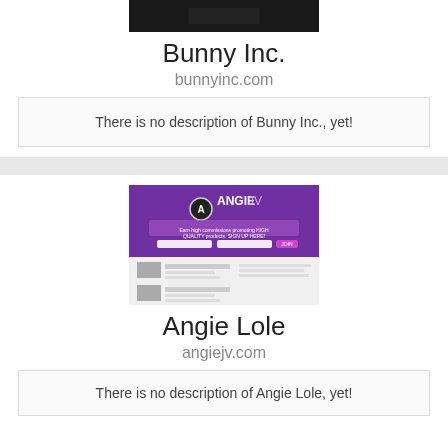[Figure (screenshot): Dark screenshot thumbnail of Bunny Inc. website]
Bunny Inc.
bunnyinc.com
There is no description of Bunny Inc., yet!
[Figure (screenshot): Screenshot of Angie JV website with purple header and logo]
Angie Lole
angiejv.com
There is no description of Angie Lole, yet!